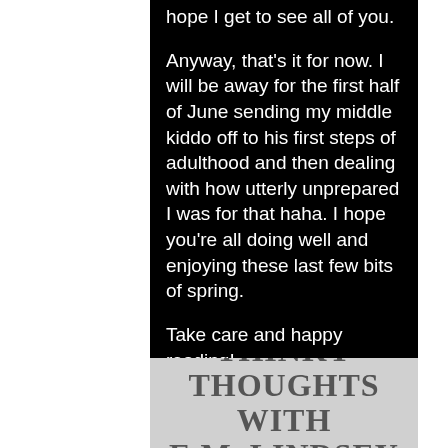hope I get to see all of you.
Anyway, that's it for now.  I will be away for the first half of June sending my middle kiddo off to his first steps of adulthood and then dealing with how utterly unprepared I was for that haha.  I hope you're all doing well and enjoying these last few bits of spring.
Take care and happy reading!
THINKY THOUGHTS WITH E.M. LINDSEY